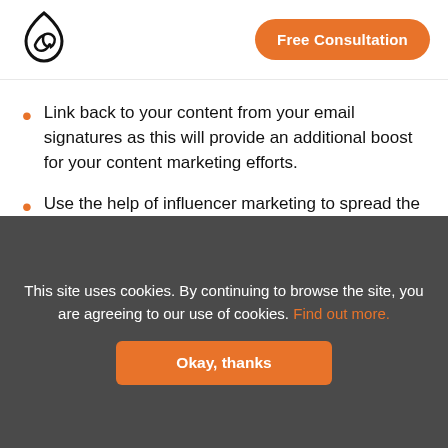[Figure (logo): Single Grain flame/drop logo in black outline]
Free Consultation
Link back to your content from your email signatures as this will provide an additional boost for your content marketing efforts.
Use the help of influencer marketing to spread the word about your content and reach more
I hope you are getting a lot of value out of this blog post.
Do you want to learn more about this topic? Schedule a Free Consultation call with a Single Grain Expert now!
This site uses cookies. By continuing to browse the site, you are agreeing to our use of cookies. Find out more.
Okay, thanks